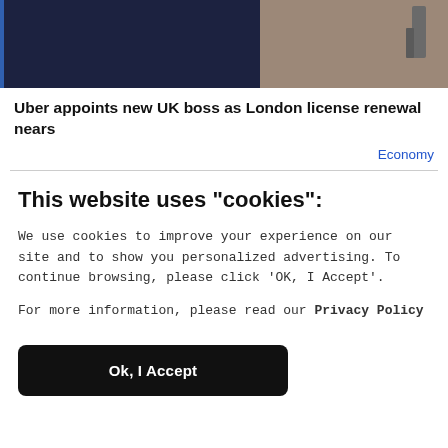[Figure (photo): Partial photo of a street scene, dark building facade on left, person walking on pavement on right]
Uber appoints new UK boss as London license renewal nears
Economy
This website uses "cookies":
We use cookies to improve your experience on our site and to show you personalized advertising. To continue browsing, please click 'OK, I Accept'.
For more information, please read our Privacy Policy
Ok, I Accept